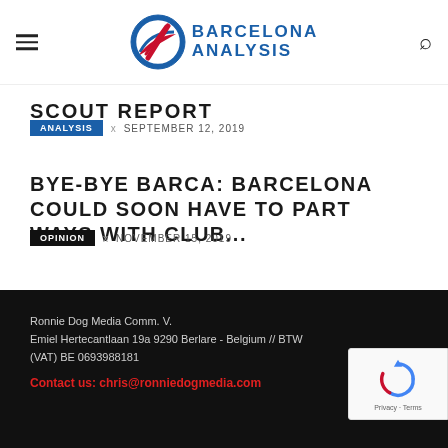Barcelona Analysis
SCOUT REPORT
ANALYSIS  x  SEPTEMBER 12, 2019
BYE-BYE BARCA: BARCELONA COULD SOON HAVE TO PART WAYS WITH CLUB...
OPINION  x  NOVEMBER 15, 2019
Ronnie Dog Media Comm. V.
Emiel Hertecantlaan 19a 9290 Berlare - Belgium // BTW (VAT) BE 0693988181

Contact us: chris@ronniedogmedia.com